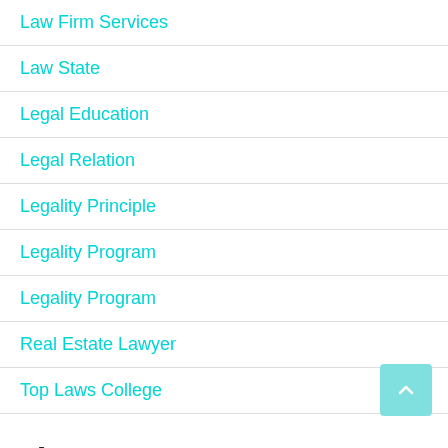Law Firm Services
Law State
Legal Education
Legal Relation
Legality Principle
Legality Program
Legality Program
Real Estate Lawyer
Top Laws College
About Us
Contact Us
Advertise Here